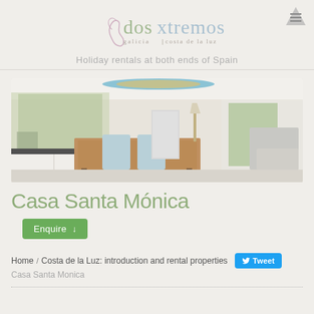[Figure (logo): Dos Xtremos logo with text 'dos xtremos galicia | costa de la luz' and decorative Spain map outline]
Holiday rentals at both ends of Spain
[Figure (photo): Interior photo of Casa Santa Mónica showing open-plan kitchen and dining room with wooden table, white chairs, and surfboard decoration on ceiling]
Casa Santa Mónica
Enquire ↓
Home / Costa de la Luz: introduction and rental properties Tweet
Casa Santa Mónica